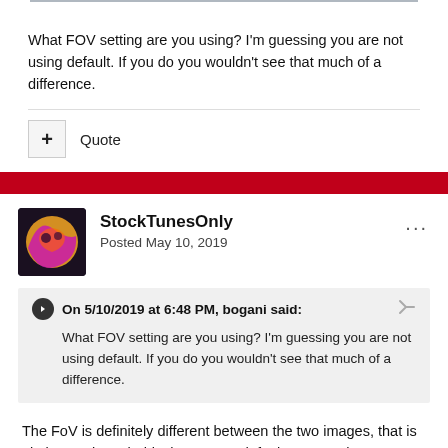What FOV setting are you using? I'm guessing you are not using default. If you do you wouldn't see that much of a difference.
Quote
StockTunesOnly
Posted May 10, 2019
On 5/10/2019 at 6:48 PM, bogani said:
What FOV setting are you using? I'm guessing you are not using default. If you do you wouldn't see that much of a difference.
The FoV is definitely different between the two images, that is obvious. It is probably the game's default vs OPs chosen FoV like